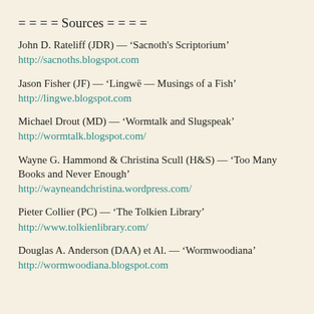= = = = Sources = = = =
John D. Rateliff (JDR) — ‘Sacnoth's Scriptorium’
http://sacnoths.blogspot.com
Jason Fisher (JF) — ‘Lingwë — Musings of a Fish’
http://lingwe.blogspot.com
Michael Drout (MD) — ‘Wormtalk and Slugspeak’
http://wormtalk.blogspot.com/
Wayne G. Hammond & Christina Scull (H&S) — ‘Too Many Books and Never Enough’
http://wayneandchristina.wordpress.com/
Pieter Collier (PC) — ‘The Tolkien Library’
http://www.tolkienlibrary.com/
Douglas A. Anderson (DAA) et Al. — ‘Wormwoodiana’
http://wormwoodiana.blogspot.com